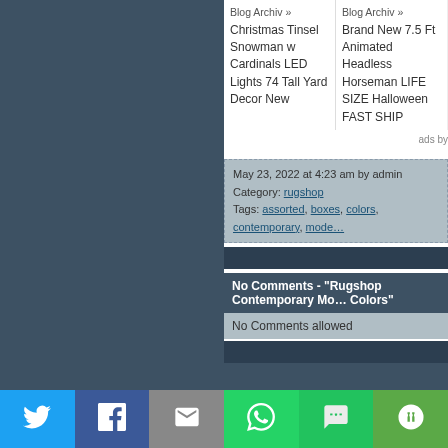Blog Archiv » Christmas Tinsel Snowman w Cardinals LED Lights 74 Tall Yard Decor New
Blog Archiv » Brand New 7.5 Ft Animated Headless Horseman LIFE SIZE Halloween FAST SHIP
ads by
May 23, 2022 at 4:23 am by admin
Category: rugshop
Tags: assorted, boxes, colors, contemporary, mode…
No Comments - "Rugshop Contemporary Mo… Colors"
No Comments allowed
Twitter, Facebook, Email, WhatsApp, SMS, More (social share buttons)